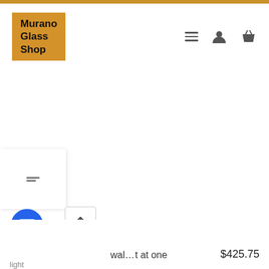Murano Glass Shop
[Figure (screenshot): Website navigation header with Murano Glass Shop logo (gold background), hamburger menu icon, user icon, and basket icon]
[Figure (screenshot): Filter/sort panel with two horizontal lines indicating filter options]
[Figure (screenshot): Blue chat button (speech bubble icon) in bottom-left corner]
[Figure (screenshot): Scroll-to-top button with upward arrow]
wal... t at one
$425.75
light